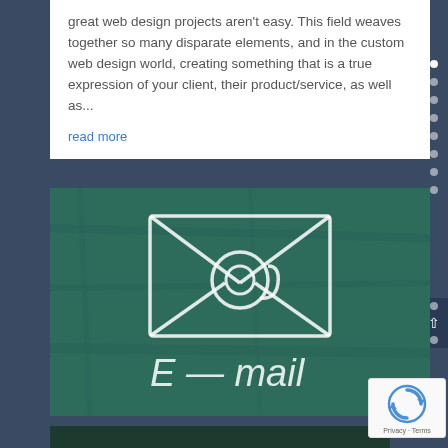great web design projects aren't easy. This field weaves together so many disparate elements, and in the custom web design world, creating something that is a true expression of your client, their product/service, as well as...
read more
[Figure (photo): A chalkboard with a hand-drawn envelope icon containing an @ symbol, and the text 'E - mail' written below in chalk]